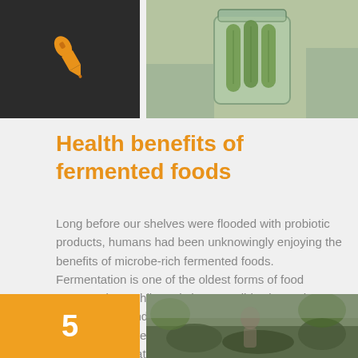[Figure (photo): Dark background box with an orange pen/quill icon in the center]
[Figure (photo): Photo of pickled cucumbers/vegetables in a glass jar]
Health benefits of fermented foods
Long before our shelves were flooded with probiotic products, humans had been unknowingly enjoying the benefits of microbe-rich fermented foods. Fermentation is one of the oldest forms of food preservation. While early humans didn't know the reasoning behind it, culture and tradition has held them for their medicinal and nutritive properties. The fermentation that produced
[Figure (other): Orange box with white number 5]
[Figure (photo): Photo of a person in a natural outdoor setting with mossy/earthy surroundings]